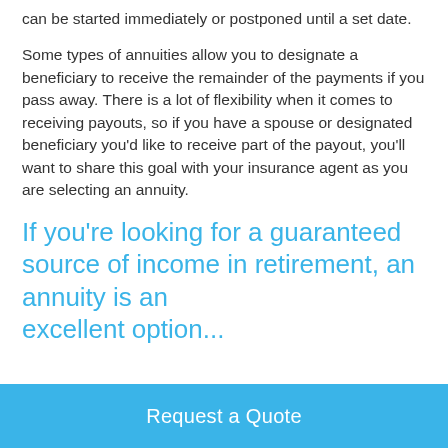can be started immediately or postponed until a set date.
Some types of annuities allow you to designate a beneficiary to receive the remainder of the payments if you pass away. There is a lot of flexibility when it comes to receiving payouts, so if you have a spouse or designated beneficiary you'd like to receive part of the payout, you'll want to share this goal with your insurance agent as you are selecting an annuity.
If you're looking for a guaranteed source of income in retirement, an annuity is an excellent option...
Request a Quote